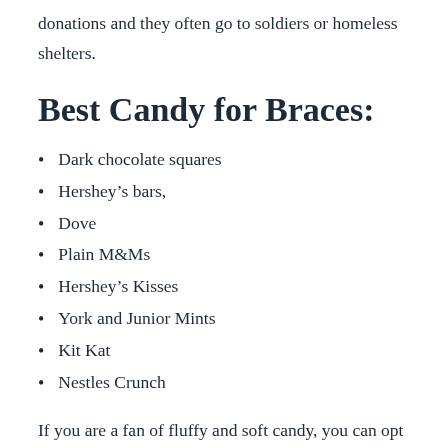donations and they often go to soldiers or homeless shelters.
Best Candy for Braces:
Dark chocolate squares
Hershey’s bars,
Dove
Plain M&Ms
Hershey’s Kisses
York and Junior Mints
Kit Kat
Nestles Crunch
If you are a fan of fluffy and soft candy, you can opt for 3 Musketeers and Milky Way – in